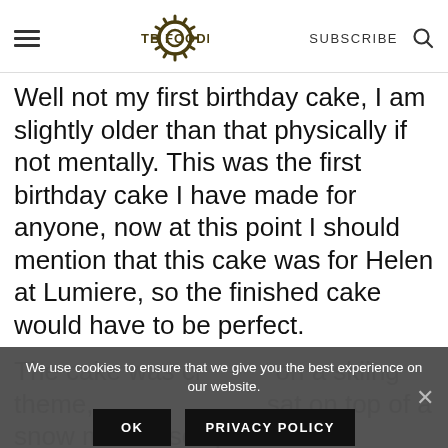MTB FOODIE | SUBSCRIBE
Well not my first birthday cake, I am slightly older than that physically if not mentally. This was the first birthday cake I have made for anyone, now at this point I should mention that this cake was for Helen at Lumiere, so the finished cake would have to be perfect.
The cake was cr[overlaid]on a skiing theme, [overlaid]sat on top of a snow mound sculpted from a
We use cookies to ensure that we give you the best experience on our website.
OK   PRIVACY POLICY